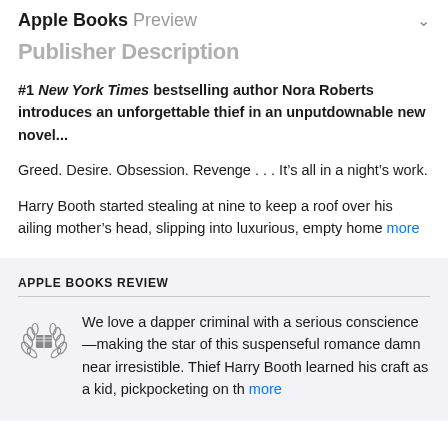Apple Books Preview
Publisher Description
#1 New York Times bestselling author Nora Roberts introduces an unforgettable thief in an unputdownable new novel...
Greed. Desire. Obsession. Revenge . . . It’s all in a night’s work.
Harry Booth started stealing at nine to keep a roof over his ailing mother’s head, slipping into luxurious, empty homes more
APPLE BOOKS REVIEW
We love a dapper criminal with a serious conscience—making the star of this suspenseful romance damn near irresistible. Thief Harry Booth learned his craft as a kid, pickpocketing on th more